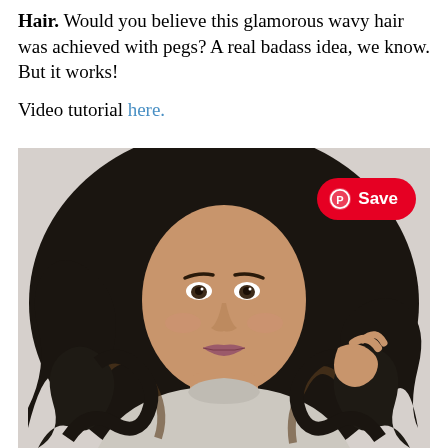Hair. Would you believe this glamorous wavy hair was achieved with pegs? A real badass idea, we know. But it works!

Video tutorial here.
[Figure (photo): A young woman with long, glamorous dark wavy hair, wearing a light grey turtleneck sweater, posing against a light grey background. She is touching her hair with one hand. A red Pinterest 'Save' button overlay is visible in the top right of the image.]